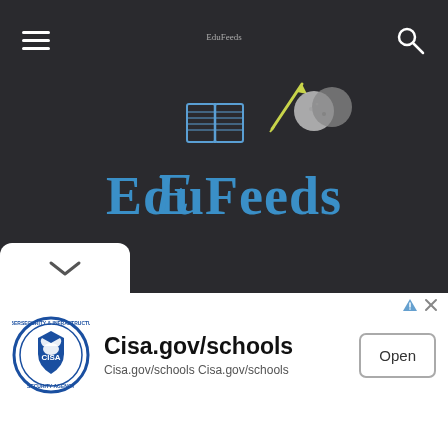EduFeeds navigation bar with hamburger menu, logo, and search icon
[Figure (logo): EduFeeds logo — large blue stylized text 'EduFeeds' with open book, pencil, and golf ball icons above, centered on dark background]
[Figure (logo): CISA seal circular logo in advertisement banner]
Cisa.gov/schools
Cisa.gov/schools Cisa.gov/schools
Open